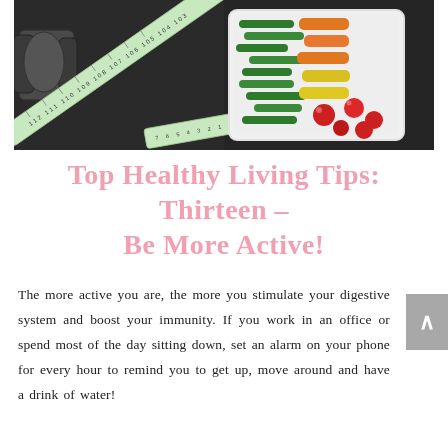[Figure (photo): A dark background photo showing a white square bowl filled with colorful vegetables including green beans, orange and yellow peppers, and red cherry tomatoes, with a tape measure coiled around it and a dumbbell visible on the left side.]
Top Healthy Living Tips: Thirteen – Be More Active!
The more active you are, the more you stimulate your digestive system and boost your immunity. If you work in an office or spend most of the day sitting down, set an alarm on your phone for every hour to remind you to get up, move around and have a drink of water!